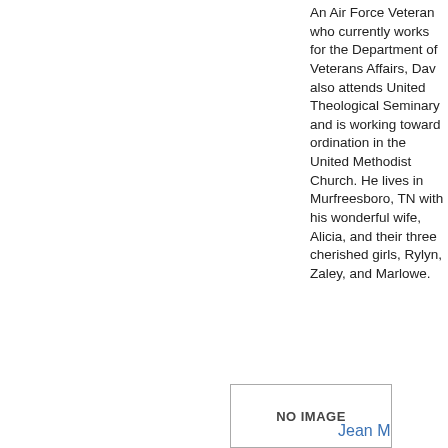An Air Force Veteran who currently works for the Department of Veterans Affairs, Dav also attends United Theological Seminary and is working toward ordination in the United Methodist Church. He lives in Murfreesboro, TN with his wonderful wife, Alicia, and their three cherished girls, Rylyn, Zaley, and Marlowe.
[Figure (other): No image placeholder box with text 'NO IMAGE']
Jean M